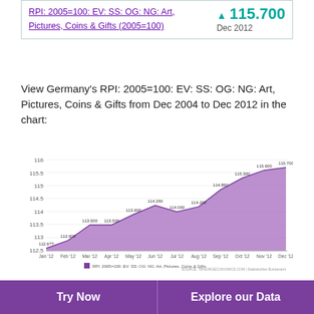RPI: 2005=100: EV: SS: OG: NG: Art, Pictures, Coins & Gifts (2005=100)  ▲ 115.700  Dec 2012
View Germany's RPI: 2005=100: EV: SS: OG: NG: Art, Pictures, Coins & Gifts from Dec 2004 to Dec 2012 in the chart:
[Figure (area-chart): RPI: 2005=100: EV: SS: OG: NG: Art, Pictures, Coins & Gifts]
RPI: 2005=100: EV: SS: OG:
Try Now
Explore our Data